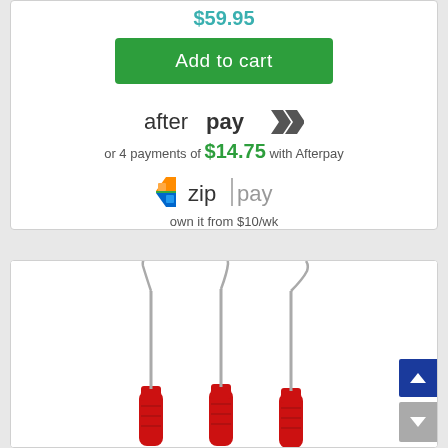$59.95
Add to cart
[Figure (logo): Afterpay logo with chevron arrow mark]
or 4 payments of $14.75 with Afterpay
[Figure (logo): Zip Pay logo with colored chevron icon]
own it from $10/wk
[Figure (photo): Three dental root canal files/instruments with red handles standing upright]